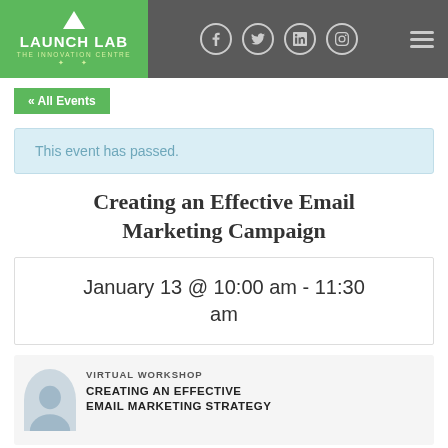Launch Lab – The Innovation Centre | Social: Facebook, Twitter, LinkedIn, Instagram
« All Events
This event has passed.
Creating an Effective Email Marketing Campaign
January 13 @ 10:00 am - 11:30 am
[Figure (photo): Preview card showing a woman's photo on the left, with text 'VIRTUAL WORKSHOP' and 'CREATING AN EFFECTIVE EMAIL MARKETING STRATEGY' on the right]